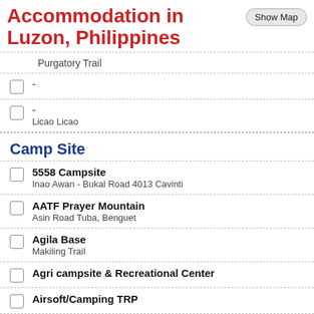Accommodation in Luzon, Philippines
Purgatory Trail
-
-
Licao Licao
Camp Site
5558 Campsite
Inao Awan - Bukal Road 4013 Cavinti
AATF Prayer Mountain
Asin Road Tuba, Benguet
Agila Base
Makiling Trail
Agri campsite & Recreational Center
Airsoft/Camping TRP
AJ's Mayon Basecamp
Lidong Trail 4500 Legazpi City